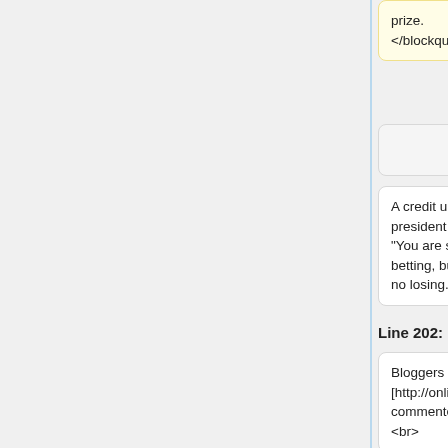prize.
</blockquote>
grand prize.
</blockquote>
A credit union president stated, “You are sort of betting, but there’s no losing.”
A credit union president stated, “You are sort of betting, but there’s no losing.”
Line 202:
Line 235:
Bloggers [http://online.wsj.com/article/SB124786612839159989.html#articleTabs%3Dcomments] commented:
<br>
Bloggers [http://online.wsj.com/article/SB124786612839159989.html#articleTabs%3Dcomments] commented:
<br>